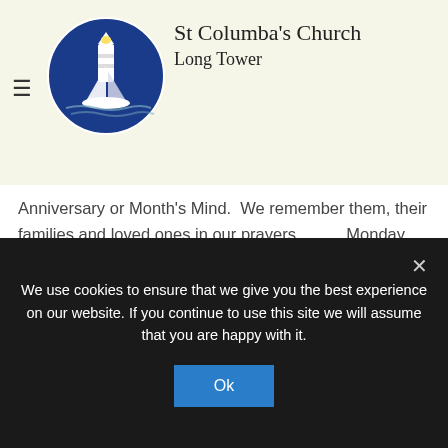[Figure (logo): St Columba's Church Long Tower logo — circular blue badge with a lighthouse and sailing boat]
St Columba's Church
Long Tower
Ti... 3rd October 2021 · Anniversary ...nd Masses  Mass will be offered fo...owing people...eason of an Anniversary or Month's Mind.  We remember them, their families and loved ones in our prayers.          Monday 4th October 10.00am    Kate Cooper Tuesday...
TWENTY FIFTH SUNDAY IN ORDINARY TIME
We use cookies to ensure that we give you the best experience on our website. If you continue to use this site we will assume that you are happy with it.